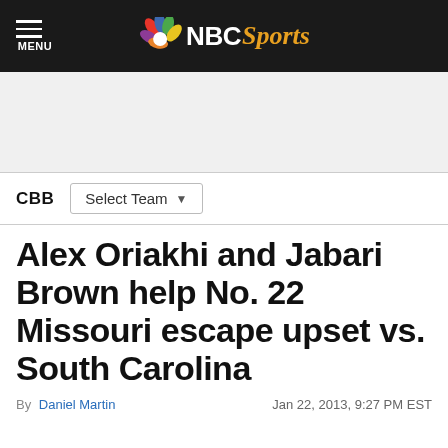NBC Sports — MENU
CBB  Select Team
Alex Oriakhi and Jabari Brown help No. 22 Missouri escape upset vs. South Carolina
By Daniel Martin  Jan 22, 2013, 9:27 PM EST